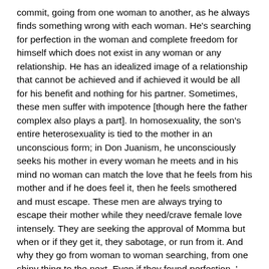commit, going from one woman to another, as he always finds something wrong with each woman. He's searching for perfection in the woman and complete freedom for himself which does not exist in any woman or any relationship. He has an idealized image of a relationship that cannot be achieved and if achieved it would be all for his benefit and nothing for his partner. Sometimes, these men suffer with impotence [though here the father complex also plays a part]. In homosexuality, the son's entire heterosexuality is tied to the mother in an unconscious form; in Don Juanism, he unconsciously seeks his mother in every woman he meets and in his mind no woman can match the love that he feels from his mother and if he does feel it, then he feels smothered and must escape. These men are always trying to escape their mother while they need/crave female love intensely. They are seeking the approval of Momma but when or if they get it, they sabotage, or run from it. And why they go from woman to woman searching, from one shiny thing to the next. Even if they found perfection, ' the perfect match or woman for them' they would not recognize it as such and would, perhaps, even feel more smothered than ever, because they would have a more difficult time finding their excuse, justification and reason to escape.
Many of the men are seen as dealing best with multiple...